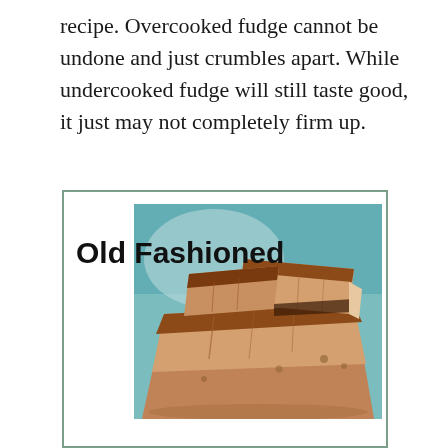recipe. Overcooked fudge cannot be undone and just crumbles apart. While undercooked fudge will still taste good, it just may not completely firm up.
[Figure (photo): A close-up photo of stacked squares of chocolate fudge, showing a light brown/tan fudge with a darker chocolate top layer, stacked on what appears to be a plate with a teal/blue background.]
Old Fashioned